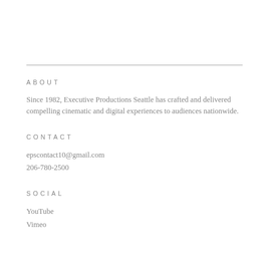ABOUT
Since 1982, Executive Productions Seattle has crafted and delivered compelling cinematic and digital experiences to audiences nationwide.
CONTACT
epscontact10@gmail.com
206-780-2500
SOCIAL
YouTube
Vimeo